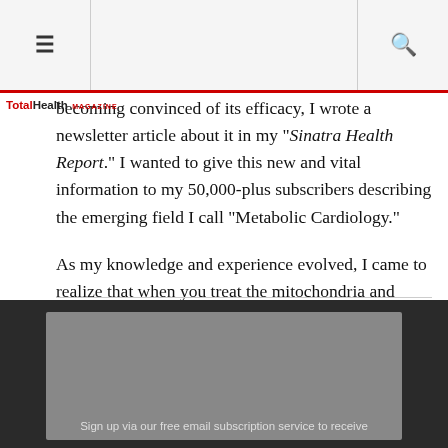≡ [TotalHealth MAGAZINE logo] 🔍
becoming convinced of its efficacy, I wrote a newsletter article about it in my "Sinatra Health Report." I wanted to give this new and vital information to my 50,000-plus subscribers describing the emerging field I call "Metabolic Cardiology."
As my knowledge and experience evolved, I came to realize that when you treat the mitochondria and nurture the heart on a cellular level, then you can improve the health of the whole organism. The study of mitochondrial energy and pharmacokinetics became such a passion that I wanted to write this book to get this life-saving information out to more and more people.
Sign up via our free email subscription service to receive